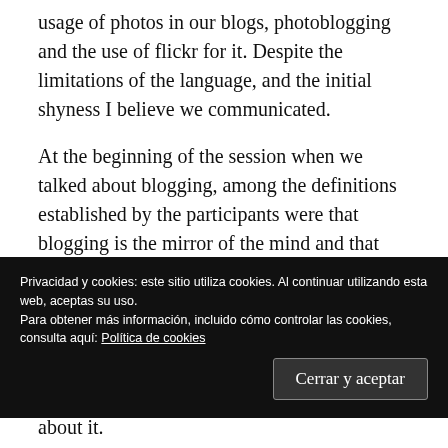usage of photos in our blogs, photoblogging and the use of flickr for it. Despite the limitations of the language, and the initial shyness I believe we communicated.
At the beginning of the session when we talked about blogging, among the definitions established by the participants were that blogging is the mirror of the mind and that allow us to excersize writing, that the photos
Privacidad y cookies: este sitio utiliza cookies. Al continuar utilizando esta web, aceptas su uso.
Para obtener más información, incluido cómo controlar las cookies, consulta aquí: Política de cookies
Cerrar y aceptar
about it.